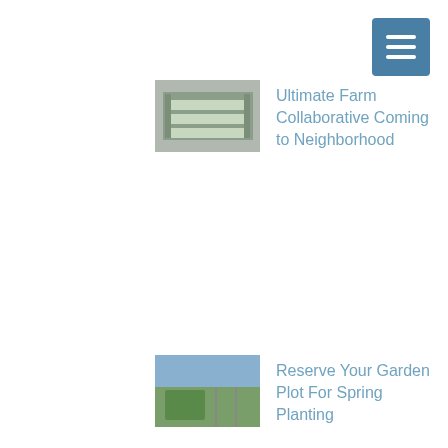[Figure (photo): Aerial view of farm with greenhouse rows]
Ultimate Farm Collaborative Coming to Neighborhood
[Figure (photo): Garden plot with green plants and fencing]
Reserve Your Garden Plot For Spring Planting
CNI NEWS ARCHIVE
July 2022 (1)
April 2022 (1)
December 2021 (1)
November 2021 (1)
October 2021 (1)
July 2021 (2)
April 2019 (4)